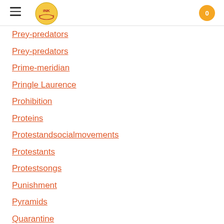INK logo, hamburger menu, cart button (0)
Prey-predators
Prey-predators
Prime-meridian
Pringle Laurence
Prohibition
Proteins
Protestandsocialmovements
Protestants
Protestsongs
Punishment
Pyramids
Quarantine
Questioning
Radio
Railroad